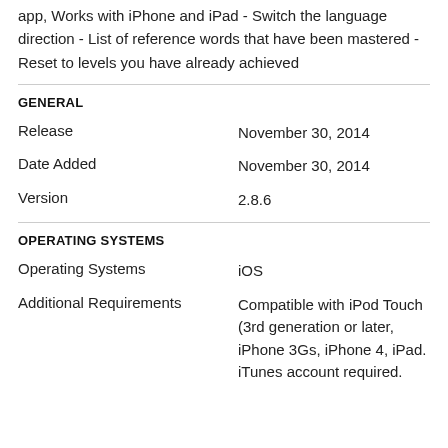app, Works with iPhone and iPad - Switch the language direction - List of reference words that have been mastered - Reset to levels you have already achieved
GENERAL
| Field | Value |
| --- | --- |
| Release | November 30, 2014 |
| Date Added | November 30, 2014 |
| Version | 2.8.6 |
OPERATING SYSTEMS
| Field | Value |
| --- | --- |
| Operating Systems | iOS |
| Additional Requirements | Compatible with iPod Touch (3rd generation or later, iPhone 3Gs, iPhone 4, iPad. iTunes account required. |